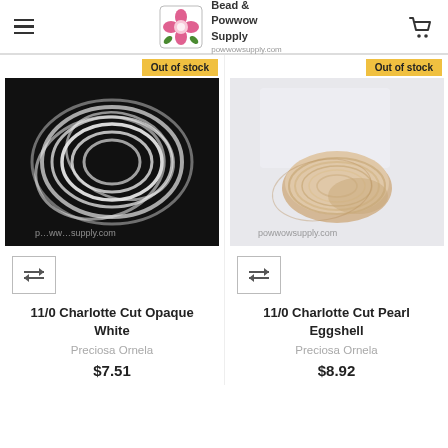Bead & Powwow Supply
[Figure (photo): Product photo of 11/0 Charlotte Cut Opaque White beads on black background with powwowsupply.com watermark]
[Figure (photo): Product photo of 11/0 Charlotte Cut Pearl Eggshell beads on white/light background with powwowsupply.com watermark]
Out of stock
Out of stock
11/0 Charlotte Cut Opaque White
Preciosa Ornela
$7.51
11/0 Charlotte Cut Pearl Eggshell
Preciosa Ornela
$8.92